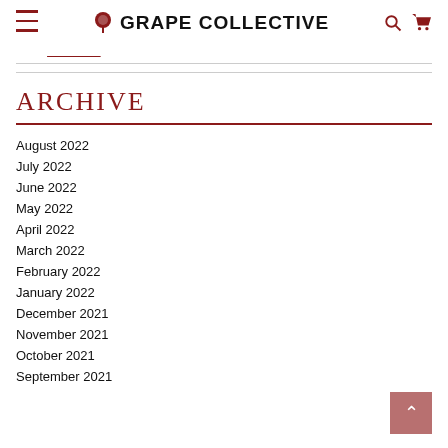GRAPE COLLECTIVE
breadcrumb partial
ARCHIVE
August 2022
July 2022
June 2022
May 2022
April 2022
March 2022
February 2022
January 2022
December 2021
November 2021
October 2021
September 2021